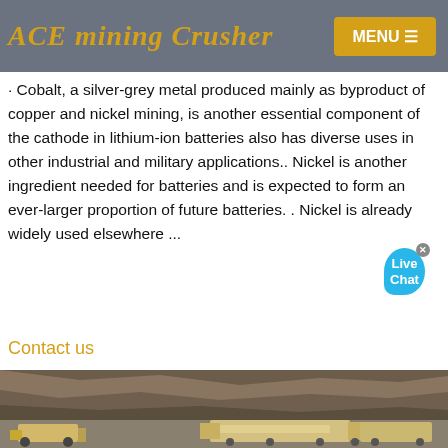ACE mining Crusher  MENU
· Cobalt, a silver-grey metal produced mainly as byproduct of copper and nickel mining, is another essential component of the cathode in lithium-ion batteries also has diverse uses in other industrial and military applications.. Nickel is another ingredient needed for batteries and is expected to form an ever-larger proportion of future batteries. . Nickel is already widely used elsewhere ...
Contact us
[Figure (photo): Aerial or close-up view of an open-pit mine with heavy mining equipment including crushers and conveyors visible at the bottom, surrounded by rocky terrain.]